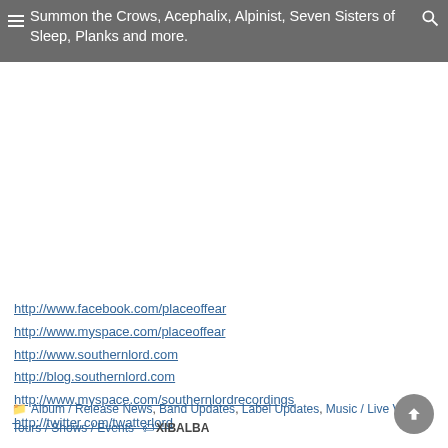Summon the Crows, Acephalix, Alpinist, Seven Sisters of Sleep, Planks and more.
http://www.facebook.com/placeoffear
http://www.myspace.com/placeoffear
http://www.southernlord.com
http://blog.southernlord.com
http://www.myspace.com/southernlordrecordings
http://twitter.com/twatterlord
Album / Release News, Band Updates, Label Updates, Music / Live Videos, Tours / Shows / Events   XIBALBA